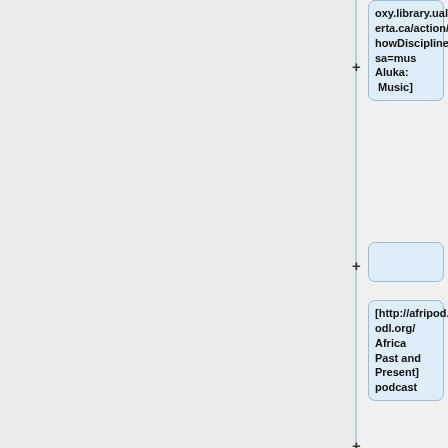[Figure (flowchart): A wiki-style tree/outline with expandable nodes showing library resource links. Visible nodes include: 'oxy.library.ualberta.ca/action/showDiscipline?sa=mus Aluka: Music]', an empty expandable node, '[http://afripod.aodl.org/ Africa Past and Present] podcast', another empty expandable node, and '[http://www.africaknowledgeproject.org African Knowledge Project], including a set of journals']